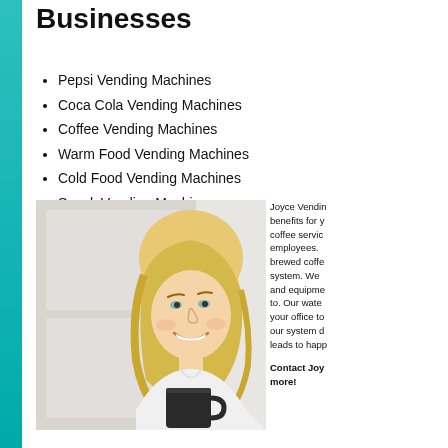Businesses
Pepsi Vending Machines
Coca Cola Vending Machines
Coffee Vending Machines
Warm Food Vending Machines
Cold Food Vending Machines
Snack Vending Machines
[Figure (photo): Smiling blonde woman holding a dark coffee mug]
Joyce Vendin benefits for y coffee servic employees. brewed coffe system. We and equipme to. Our wate your office to our system d leads to happ
Contact Joy more!